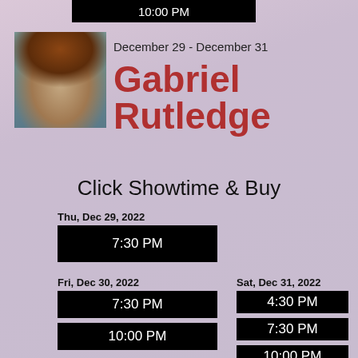10:00 PM
[Figure (photo): Photo of Gabriel Rutledge, a man with long brown hair and beard wearing a plaid shirt]
December 29 - December 31
Gabriel Rutledge
Click Showtime & Buy
Thu, Dec 29, 2022
7:30 PM
Fri, Dec 30, 2022
7:30 PM
10:00 PM
Sat, Dec 31, 2022
4:30 PM
7:30 PM
10:00 PM